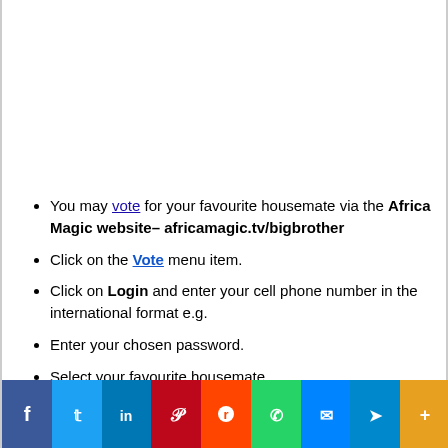You may vote for your favourite housemate via the Africa Magic website– africamagic.tv/bigbrother
Click on the Vote menu item.
Click on Login and enter your cell phone number in the international format e.g.
Enter your chosen password.
Select your favourite housemate.
[Figure (infographic): Social media sharing bar with icons: Facebook (blue), Twitter (light blue), LinkedIn (dark blue), Pinterest (red), Reddit (orange-red), WhatsApp (green), Messenger (blue), Telegram (blue), More (orange)]